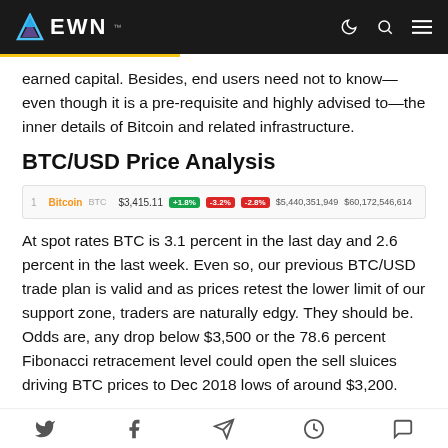EWN
earned capital. Besides, end users need not to know—even though it is a pre-requisite and highly advised to—the inner details of Bitcoin and related infrastructure.
BTC/USD Price Analysis
[Figure (screenshot): Cryptocurrency ticker bar showing Bitcoin (BTC) price data: rank 1, price $3,415.11, badges +1.8%, -3.2%, -2.8%, market cap $5,440,351,949, volume $60,172,546,614, with a red sparkline chart showing price decline]
At spot rates BTC is 3.1 percent in the last day and 2.6 percent in the last week. Even so, our previous BTC/USD trade plan is valid and as prices retest the lower limit of our support zone, traders are naturally edgy. They should be. Odds are, any drop below $3,500 or the 78.6 percent Fibonacci retracement level could open the sell sluices driving BTC prices to Dec 2018 lows of around $3,200.